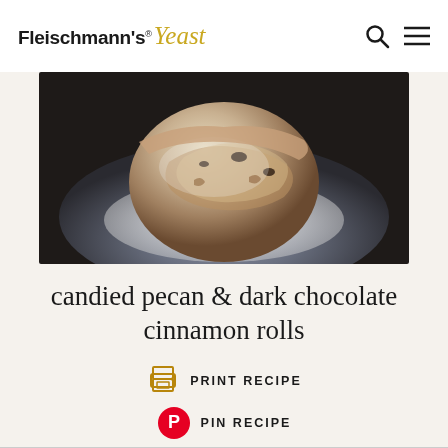Fleischmann's Yeast
[Figure (photo): Close-up photo of a cinnamon roll with candied pecans and dark chocolate on a dark plate dusted with powdered sugar]
candied pecan & dark chocolate cinnamon rolls
PRINT RECIPE
PIN RECIPE